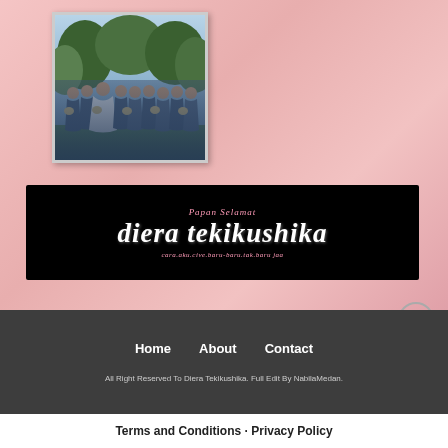[Figure (photo): Wedding photo showing bride in white dress surrounded by bridesmaids in navy/dark blue dresses, holding bouquets, outdoors with greenery in background]
[Figure (logo): Black banner with decorative script text: 'Papan Selamat' in pink above, 'diera tekikushika' in large white italic script, and tagline in pink below: 'cara.aku.cive.baru-baru.tak.baru jaa']
Home   About   Contact
All Right Reserved To Diera Tekikushika. Full Edit By NabilaMedan.
Terms and Conditions · Privacy Policy